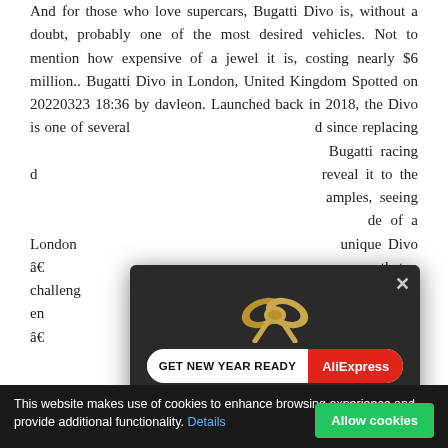And for those who love supercars, Bugatti Divo is, without a doubt, probably one of the most desired vehicles. Not to mention how expensive of a jewel it is, costing nearly $6 million.. Bugatti Divo in London, United Kingdom Spotted on 20220323 18:36 by davleon. Launched back in 2018, the Divo is one of several [obscured by ad] d since replacing [obscured by ad] Bugatti racing d[obscured by ad]reveal it to the [obscured by ad]amples, seeing [obscured by ad]de of a London[obscured by ad]unique Divo â€[obscured by ad]s that a challeng[obscured by ad]years is now en[obscured by ad]18, our aim â€[obscured by ad]sports
[Figure (screenshot): AliExpress advertisement overlay with dark background, gift bow graphic, 'GET NEW YEAR READY AliExpress' banner, and text 'Explore up to 70% off' in gold lettering. Has a close (x) button in top right.]
This website makes use of cookies to enhance browsing experience and provide additional functionality. Details